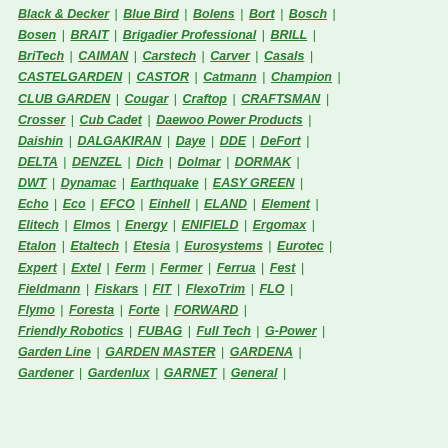Black & Decker | Blue Bird | Bolens | Bort | Bosch |
Bosen | BRAIT | Brigadier Professional | BRILL |
BriTech | CAIMAN | Carstech | Carver | Casals |
CASTELGARDEN | CASTOR | Catmann | Champion |
CLUB GARDEN | Cougar | Craftop | CRAFTSMAN |
Crosser | Cub Cadet | Daewoo Power Products |
Daishin | DALGAKIRAN | Daye | DDE | DeFort |
DELTA | DENZEL | Dich | Dolmar | DORMAK |
DWT | Dynamac | Earthquake | EASY GREEN |
Echo | Eco | EFCO | Einhell | ELAND | Element |
Elitech | Elmos | Energy | ENIFIELD | Ergomax |
Etalon | Etaltech | Etesia | Eurosystems | Eurotec |
Expert | Extel | Ferm | Fermer | Ferrua | Fest |
Fieldmann | Fiskars | FIT | FlexoTrim | FLO |
Flymo | Foresta | Forte | FORWARD |
Friendly Robotics | FUBAG | Full Tech | G-Power |
Garden Line | GARDEN MASTER | GARDENA |
Gardener | Gardenlux | GARNET | General |